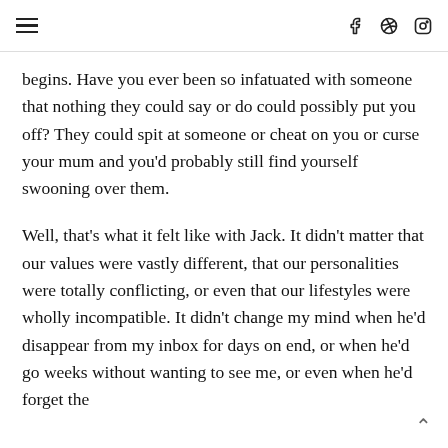[hamburger menu] [facebook] [pinterest] [instagram]
begins. Have you ever been so infatuated with someone that nothing they could say or do could possibly put you off? They could spit at someone or cheat on you or curse your mum and you'd probably still find yourself swooning over them.
Well, that's what it felt like with Jack. It didn't matter that our values were vastly different, that our personalities were totally conflicting, or even that our lifestyles were wholly incompatible. It didn't change my mind when he'd disappear from my inbox for days on end, or when he'd go weeks without wanting to see me, or even when he'd forget the